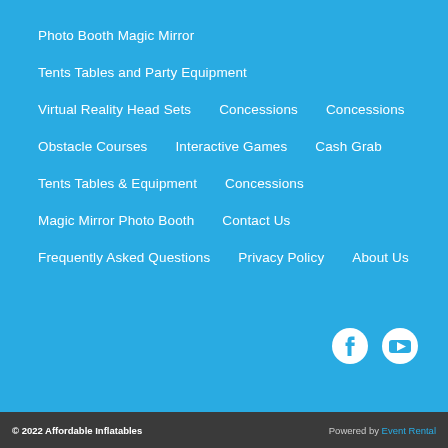Photo Booth Magic Mirror
Tents Tables and Party Equipment
Virtual Reality Head Sets    Concessions    Concessions
Obstacle Courses    Interactive Games    Cash Grab
Tents Tables & Equipment    Concessions
Magic Mirror Photo Booth    Contact Us
Frequently Asked Questions    Privacy Policy    About Us
[Figure (logo): Facebook and YouTube social media icons]
© 2022 Affordable Inflatables    Powered by Event Rental